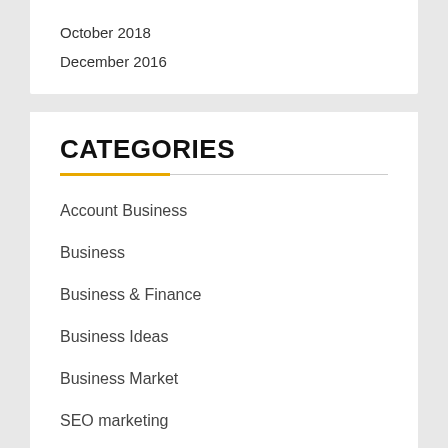October 2018
December 2016
CATEGORIES
Account Business
Business
Business & Finance
Business Ideas
Business Market
SEO marketing